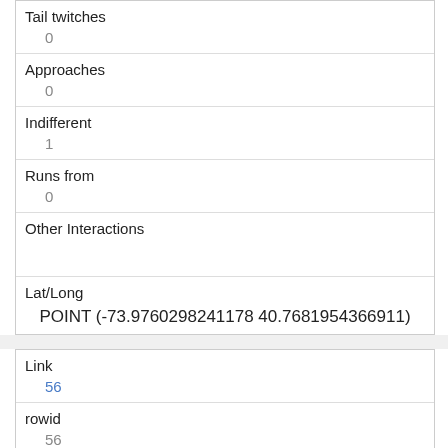| Tail twitches | 0 |
| Approaches | 0 |
| Indifferent | 1 |
| Runs from | 0 |
| Other Interactions |  |
| Lat/Long | POINT (-73.9760298241178 40.7681954366911) |
| Link | 56 |
| rowid | 56 |
| longitude | -73.97246424363941 |
| latitude | 40.7690526441109 |